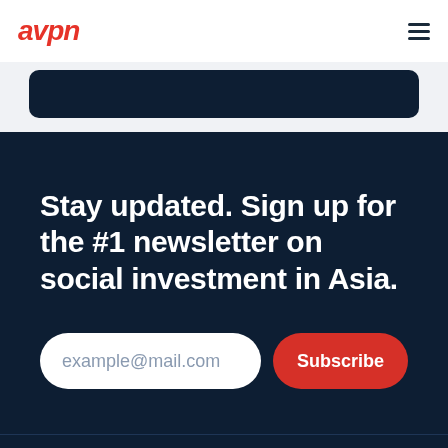avpn
[Figure (screenshot): Dark navy rounded rectangle button element partially visible at top of content area]
Stay updated. Sign up for the #1 newsletter on social investment in Asia.
example@mail.com
Subscribe